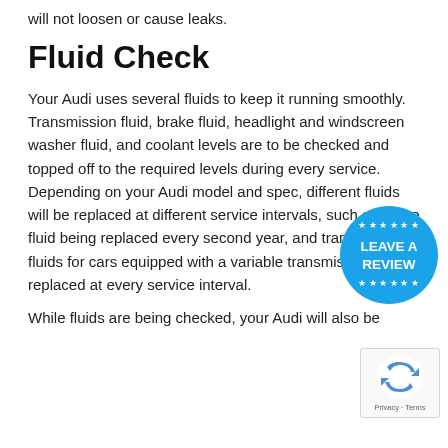will not loosen or cause leaks.
Fluid Check
Your Audi uses several fluids to keep it running smoothly. Transmission fluid, brake fluid, headlight and windscreen washer fluid, and coolant levels are to be checked and topped off to the required levels during every service. Depending on your Audi model and spec, different fluids will be replaced at different service intervals, such as brake fluid being replaced every second year, and transmission fluids for cars equipped with a variable transmission (CVT) replaced at every service interval.
[Figure (other): Blue circular badge with stars and text 'LEAVE A REVIEW']
[Figure (other): Google reCAPTCHA widget showing recycling arrows logo with Privacy and Terms text]
While fluids are being checked, your Audi will also be